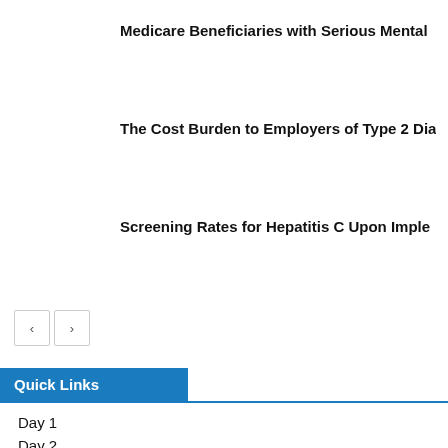Medicare Beneficiaries with Serious Mental
The Cost Burden to Employers of Type 2 Dia
Screening Rates for Hepatitis C Upon Imple
Quick Links
Day 1
Day 2